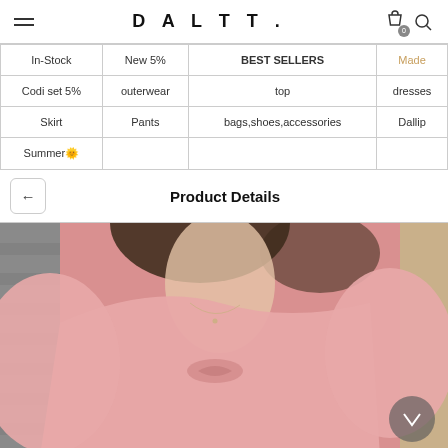DALTT.
| In-Stock | New 5% | BEST SELLERS | Made |
| --- | --- | --- | --- |
| Codi set 5% | outerwear | top | dresses |
| Skirt | Pants | bags,shoes,accessories | Dallip |
| Summer🌞 |  |  |  |
Product Details
[Figure (photo): A woman wearing a pink long-sleeve top with a square neckline and ruched/bow detail at the bust, photographed from the chest up.]